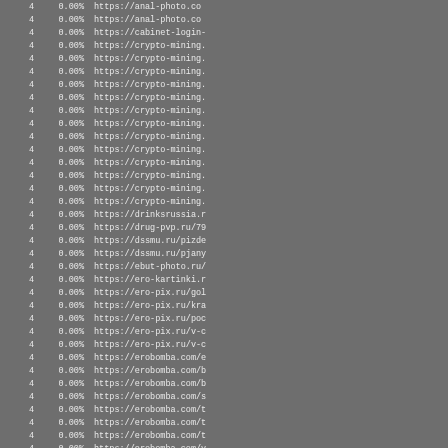| count | percent | url |
| --- | --- | --- |
| 4 | 0.00% | https://anal-photo.co |
| 4 | 0.00% | https://anal-photo.co |
| 4 | 0.00% | https://cabinet-login- |
| 4 | 0.00% | https://crypto-mining. |
| 4 | 0.00% | https://crypto-mining. |
| 4 | 0.00% | https://crypto-mining. |
| 4 | 0.00% | https://crypto-mining. |
| 4 | 0.00% | https://crypto-mining. |
| 4 | 0.00% | https://crypto-mining. |
| 4 | 0.00% | https://crypto-mining. |
| 4 | 0.00% | https://crypto-mining. |
| 4 | 0.00% | https://crypto-mining. |
| 4 | 0.00% | https://crypto-mining. |
| 4 | 0.00% | https://crypto-mining. |
| 4 | 0.00% | https://crypto-mining. |
| 4 | 0.00% | https://crypto-mining. |
| 4 | 0.00% | https://crypto-mining. |
| 4 | 0.00% | https://drinksrussia.r |
| 4 | 0.00% | https://drug-pvp.ru/79 |
| 4 | 0.00% | https://dssmu.ru/pizde |
| 4 | 0.00% | https://dssmu.ru/pjany |
| 4 | 0.00% | https://ebut-photo.ru/ |
| 4 | 0.00% | https://ero-kartinki.r |
| 4 | 0.00% | https://ero-pix.ru/gol |
| 4 | 0.00% | https://ero-pix.ru/kra |
| 4 | 0.00% | https://ero-pix.ru/poc |
| 4 | 0.00% | https://ero-pix.ru/v-c |
| 4 | 0.00% | https://ero-pix.ru/v-c |
| 4 | 0.00% | https://erobomba.com/e |
| 4 | 0.00% | https://erobomba.com/b |
| 4 | 0.00% | https://erobomba.com/b |
| 4 | 0.00% | https://erobomba.com/s |
| 4 | 0.00% | https://erobomba.com/t |
| 4 | 0.00% | https://erobomba.com/t |
| 4 | 0.00% | https://erobomba.com/t |
| 4 | 0.00% | https://erobomba.com/v |
| 4 | 0.00% | https://hot-nu.ru/1239 |
| 4 | 0.00% | https://hot-nu.ru/anal |
| 4 | 0.00% | https://hotevershop.co |
| 4 | 0.00% | https://hotevershop.co |
| 4 | 0.00% | https://hotevershop.co |